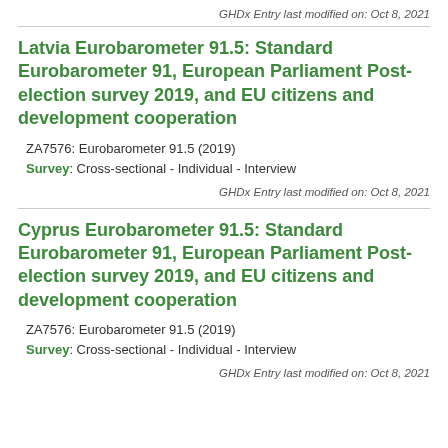GHDx Entry last modified on: Oct 8, 2021
Latvia Eurobarometer 91.5: Standard Eurobarometer 91, European Parliament Post-election survey 2019, and EU citizens and development cooperation
ZA7576: Eurobarometer 91.5 (2019)
Survey: Cross-sectional - Individual - Interview
GHDx Entry last modified on: Oct 8, 2021
Cyprus Eurobarometer 91.5: Standard Eurobarometer 91, European Parliament Post-election survey 2019, and EU citizens and development cooperation
ZA7576: Eurobarometer 91.5 (2019)
Survey: Cross-sectional - Individual - Interview
GHDx Entry last modified on: Oct 8, 2021